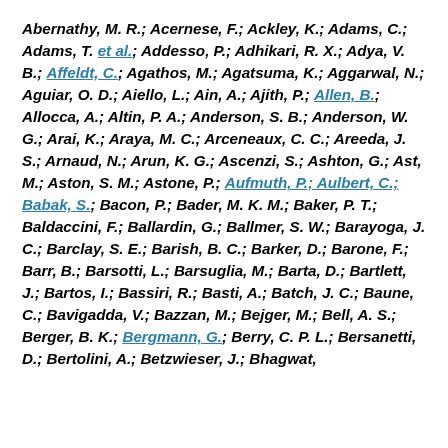Abernathy, M. R.; Acernese, F.; Ackley, K.; Adams, C.; Adams, T. et al.; Addesso, P.; Adhikari, R. X.; Adya, V. B.; Affeldt, C.; Agathos, M.; Agatsuma, K.; Aggarwal, N.; Aguiar, O. D.; Aiello, L.; Ain, A.; Ajith, P.; Allen, B.; Allocca, A.; Altin, P. A.; Anderson, S. B.; Anderson, W. G.; Arai, K.; Araya, M. C.; Arceneaux, C. C.; Areeda, J. S.; Arnaud, N.; Arun, K. G.; Ascenzi, S.; Ashton, G.; Ast, M.; Aston, S. M.; Astone, P.; Aufmuth, P.; Aulbert, C.; Babak, S.; Bacon, P.; Bader, M. K. M.; Baker, P. T.; Baldaccini, F.; Ballardin, G.; Ballmer, S. W.; Barayoga, J. C.; Barclay, S. E.; Barish, B. C.; Barker, D.; Barone, F.; Barr, B.; Barsotti, L.; Barsuglia, M.; Barta, D.; Bartlett, J.; Bartos, I.; Bassiri, R.; Basti, A.; Batch, J. C.; Baune, C.; Bavigadda, V.; Bazzan, M.; Bejger, M.; Bell, A. S.; Berger, B. K.; Bergmann, G.; Berry, C. P. L.; Bersanetti, D.; Bertolini, A.; Betzwieser, J.; Bhagwat, S.; Bhandare, R.; Bilenko, I. A.; Billingsley, G.; Birch, ...